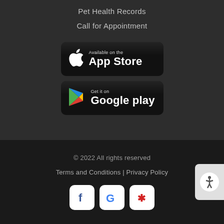Pet Health Records
Call for Appointment
[Figure (screenshot): App Store download badge — black rounded rectangle with Apple logo and text 'Available on the App Store']
[Figure (screenshot): Google Play download badge — black rounded rectangle with Google Play triangle logo and text 'Get it on Google play']
© 2022 All rights reserved
Terms and Conditions | Privacy Policy
[Figure (logo): Facebook, Google, and Yelp social media icon buttons in white rounded squares]